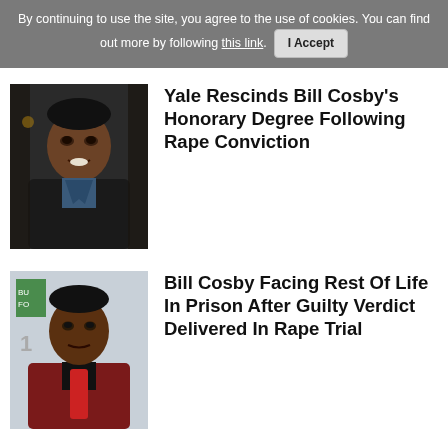By continuing to use the site, you agree to the use of cookies. You can find out more by following this link. I Accept
[Figure (photo): Photo of Bill Cosby in a dark jacket outdoors]
Yale Rescinds Bill Cosby's Honorary Degree Following Rape Conviction
[Figure (photo): Photo of Bill Cosby in a dark red blazer at an event]
Bill Cosby Facing Rest Of Life In Prison After Guilty Verdict Delivered In Rape Trial